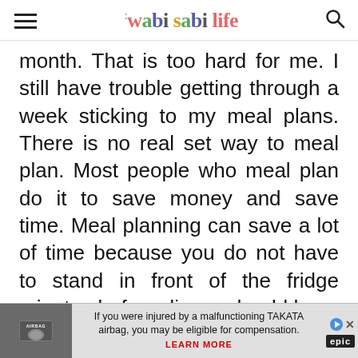the wabi sabi life
month. That is too hard for me. I still have trouble getting through a week sticking to my meal plans. There is no real set way to meal plan. Most people who meal plan do it to save money and save time. Meal planning can save a lot of time because you do not have to stand in front of the fridge minutes before dinner should have been done,
tryi...
[Figure (screenshot): Advertisement banner: airbag recall ad - 'If you were injured by a malfunctioning TAKATA airbag, you may be eligible for compensation. LEARN MORE' with play and close controls and epic logo.]